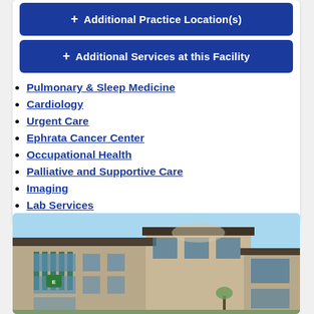+ Additional Practice Location(s)
+ Additional Services at this Facility
Pulmonary & Sleep Medicine
Cardiology
Urgent Care
Ephrata Cancer Center
Occupational Health
Palliative and Supportive Care
Imaging
Lab Services
[Figure (photo): Exterior photo of a multi-story medical building with tan/beige facade, teal-green accent panels, large windows, and blue sky background]